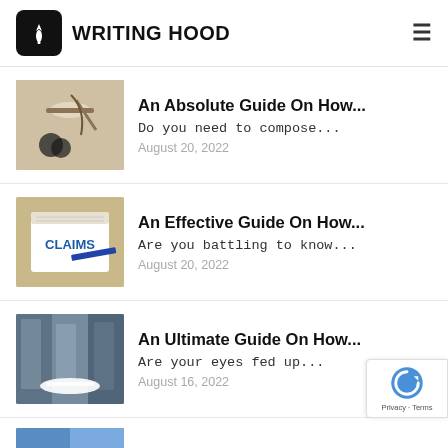WRITING HOOD
An Absolute Guide On How...
Do you need to compose...
August 20, 2022
An Effective Guide On How...
Are you battling to know...
August 20, 2022
An Ultimate Guide On How...
Are your eyes fed up...
August 16, 2022